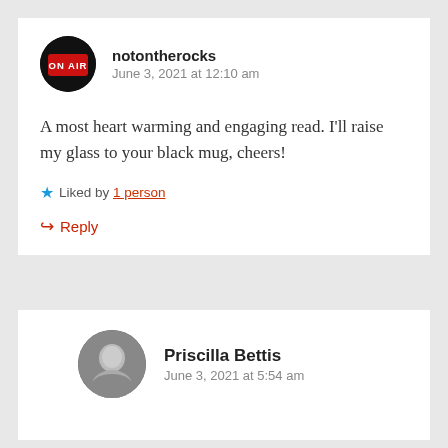[Figure (photo): Round avatar showing a red ON AIR sign on dark background]
notontherocks
June 3, 2021 at 12:10 am
A most heart warming and engaging read. I’ll raise my glass to your black mug, cheers!
★ Liked by 1 person
↪ Reply
[Figure (photo): Round avatar of Priscilla Bettis, a grayscale portrait photo]
Priscilla Bettis
June 3, 2021 at 5:54 am